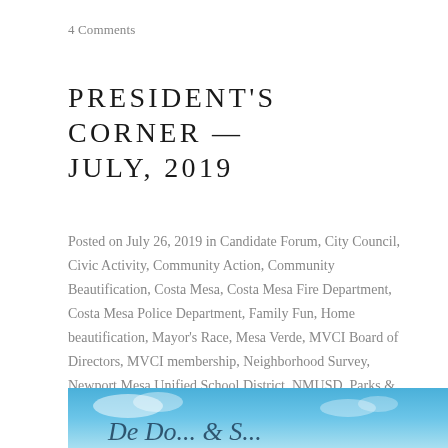4 Comments
PRESIDENT'S CORNER — JULY, 2019
Posted on July 26, 2019 in Candidate Forum, City Council, Civic Activity, Community Action, Community Beautification, Costa Mesa, Costa Mesa Fire Department, Costa Mesa Police Department, Family Fun, Home beautification, Mayor's Race, Mesa Verde, MVCI Board of Directors, MVCI membership, Neighborhood Survey, Newport Mesa Unified School District, NMUSD, Parks & Recreation Commission, Parkway Trees, Retail Shopping, Safety & Security, School Board, School District, Tanager Park
[Figure (photo): Partial view of a banner or sign with cursive text against a blue sky background]